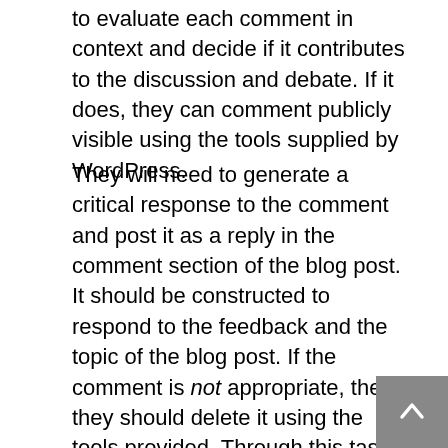to evaluate each comment in context and decide if it contributes to the discussion and debate. If it does, they can comment publicly visible using the tools supplied by WordPress.
They will need to generate a critical response to the comment and post it as a reply in the comment section of the blog post. It should be constructed to respond to the feedback and the topic of the blog post. If the comment is not appropriate, then they should delete it using the tools provided. Through this task, the student gains the skill to evaluate comments on a blog post using a set of criteria (e.g. does it contribute to the online discussion; does it make a valid point), and respond to them in turn, in a way that furthers discussion around the topic.